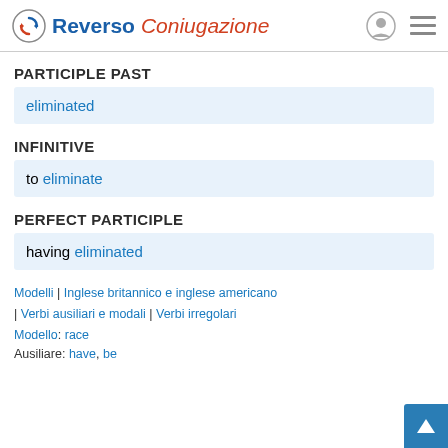Reverso Coniugazione
PARTICIPLE PAST
eliminated
INFINITIVE
to eliminate
PERFECT PARTICIPLE
having eliminated
Modelli | Inglese britannico e inglese americano
| Verbi ausiliari e modali | Verbi irregolari
Modello: race
Ausiliare: have, be